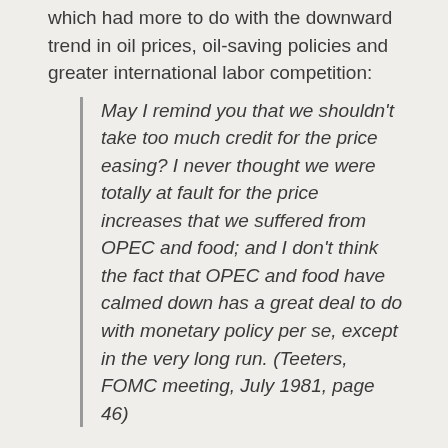which had more to do with the downward trend in oil prices, oil-saving policies and greater international labor competition:
May I remind you that we shouldn't take too much credit for the price easing? I never thought we were totally at fault for the price increases that we suffered from OPEC and food; and I don't think the fact that OPEC and food have calmed down has a great deal to do with monetary policy per se, except in the very long run. (Teeters, FOMC meeting, July 1981, page 46)
The Volcker experiment was, however, a public-relation success. Most FOMC members knew that reserve targeting was not possible but, it allowed them to claim that they were not responsible for the high interest rates